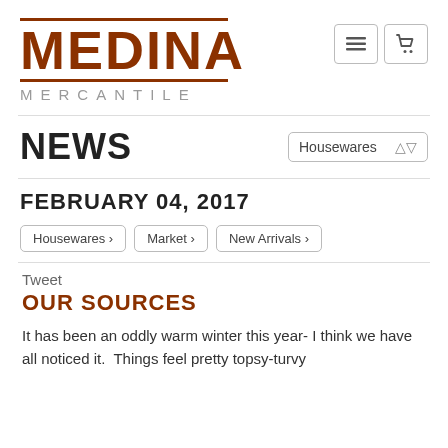[Figure (logo): Medina Mercantile logo with rust/brown color, horizontal rules above and below the word MEDINA, and MERCANTILE in spaced gray letters below]
NEWS
FEBRUARY 04, 2017
Housewares ›
Market ›
New Arrivals ›
Tweet
OUR SOURCES
It has been an oddly warm winter this year- I think we have all noticed it.  Things feel pretty topsy-turvy